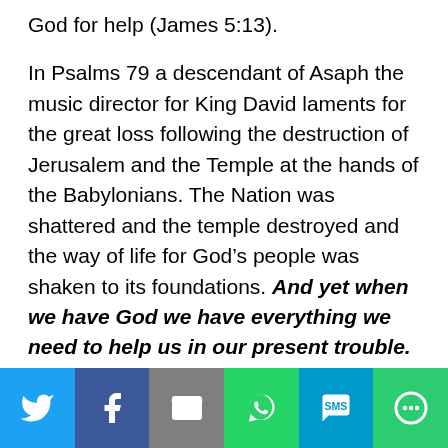God for help (James 5:13).
In Psalms 79 a descendant of Asaph the music director for King David laments for the great loss following the destruction of Jerusalem and the Temple at the hands of the Babylonians. The Nation was shattered and the temple destroyed and the way of life for God’s people was shaken to its foundations. And yet when we have God we have everything we need to help us in our present trouble. Jeremiah says it best in Lamentations 3:22-23: “Because of the Lord’s great love we are not consumed, for his compassions never fail. They are new every morning; great is your faithfulness.”
[Figure (other): Social sharing bar with Twitter, Facebook, Email, WhatsApp, SMS, and More buttons]